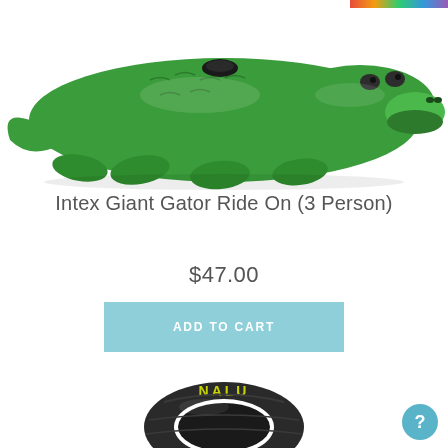[Figure (photo): Inflatable green alligator/gator pool ride-on toy (Intex Giant Gator Ride On, 3 Person) photographed on white background, viewed from above-front angle]
Intex Giant Gator Ride On (3 Person)
$47.00
[Figure (other): ADD TO CART button in light blue]
[Figure (photo): Nalu inflatable pool tube/ring, dark grey/black color with yellow NALU text, partially visible at bottom of page]